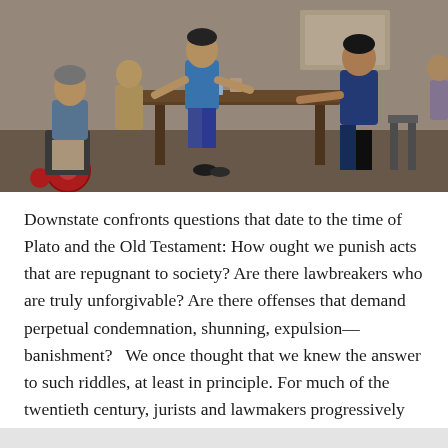[Figure (photo): A scene showing several people seated around a wooden table in what appears to be an indoor setting. A person in a motorized wheelchair is visible on the left side.]
Downstate confronts questions that date to the time of Plato and the Old Testament: How ought we punish acts that are repugnant to society? Are there lawbreakers who are truly unforgivable? Are there offenses that demand perpetual condemnation, shunning, expulsion—banishment?   We once thought that we knew the answer to such riddles, at least in principle. For much of the twentieth century, jurists and lawmakers progressively tethered law to enlightened ideals: they eschewed punishment for the sake of punishment, embraced the idea of contingent redemption—rehabilitation—and imposed limits to punishment. But after the turmoil of the 1960s, American legal history diverged…